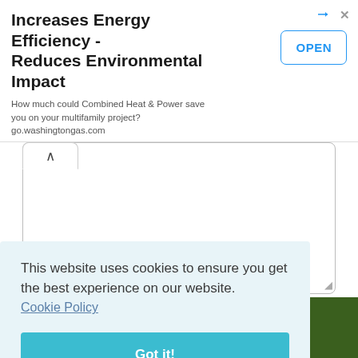[Figure (screenshot): Advertisement banner for Washington Gas Combined Heat & Power with OPEN button]
[Figure (screenshot): Text area input box with collapse/expand button and resize handle]
Validate:
[Figure (screenshot): Validate CAPTCHA input field showing 'O' with arrow controls]
This website uses cookies to ensure you get the best experience on our website. Cookie Policy
Got it!
[Figure (screenshot): Green footer strip with dark green block on right and social media icons]